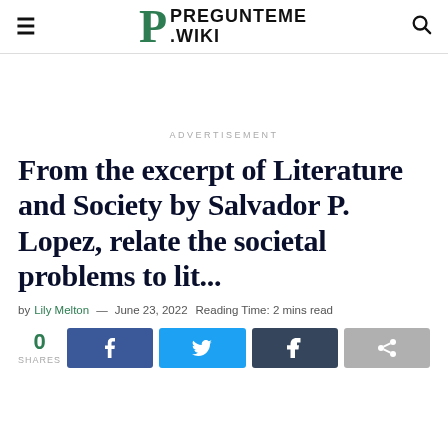PREGUNTEME .WIKI
ADVERTISEMENT
From the excerpt of Literature and Society by Salvador P. Lopez, relate the societal problems to lit...
by Lily Melton — June 23, 2022  Reading Time: 2 mins read
0 SHARES [Facebook share] [Twitter share] [Tumblr share] [Share]